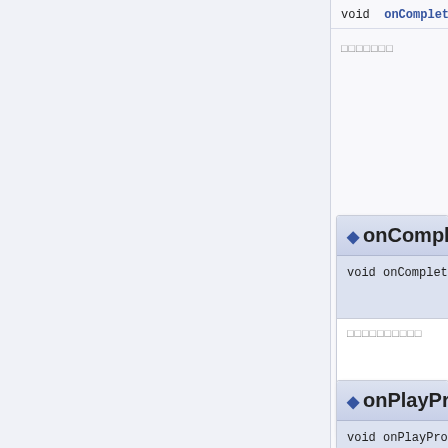void onComplete
（説明文）
◆ onComplete
void onComplete ( i
                  i
                )
（説明文一覧）
◆ onPlayProg
void onPlayProgres